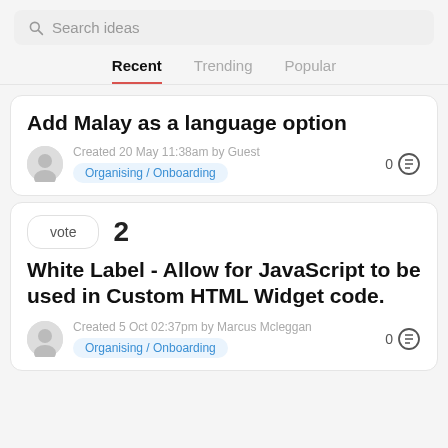Search ideas
Recent  Trending  Popular
Add Malay as a language option
Created 20 May 11:38am by Guest
Organising / Onboarding
0
vote  2
White Label - Allow for JavaScript to be used in Custom HTML Widget code.
Created 5 Oct 02:37pm by Marcus Mcleggan
Organising / Onboarding
0